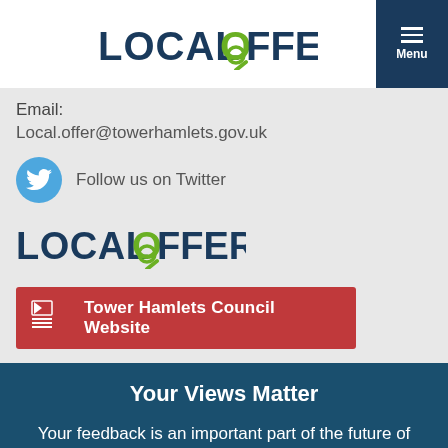LOCAL OFFER [Menu]
Email:
Local.offer@towerhamlets.gov.uk
[Figure (logo): Twitter bird icon in blue circle with text Follow us on Twitter]
[Figure (logo): LOCAL OFFER logo with magnifying glass O in green]
[Figure (logo): Red button with Tower Hamlets council logo and text Tower Hamlets Council Website]
Your Views Matter
Your feedback is an important part of the future of the website. We want to continually improve and enhance it for you and we will do this based